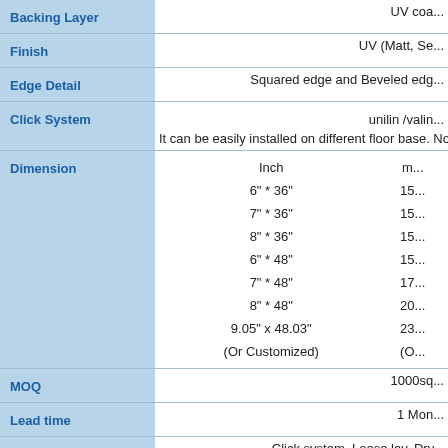| Property | Value |
| --- | --- |
| Backing Layer | UV coa... |
| Finish | UV (Matt, Se... |
| Edge Detail | Squared edge and Beveled edg... |
| Click System | unilin /valin...
It can be easily installed on different floor base. No matter... |
| Dimension | Inch | m...
6" * 36" | 15...
7" * 36" | 15...
8" * 36" | 15...
6" * 48" | 15...
7" * 48" | 17...
8" * 48" | 20...
9.05" x 48.03" | 23...
(Or Customized) | (O... |
| MOQ | 1000sq... |
| Lead time | 1 Mon... |
| Installation | Click system, Loose lay, Dry... |
|  | Formaldehyde free, waterproof an... |